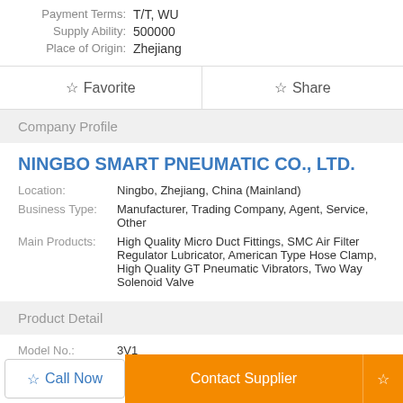Payment Terms: T/T, WU
Supply Ability: 500000
Place of Origin: Zhejiang
☆ Favorite | ☆ Share
Company Profile
NINGBO SMART PNEUMATIC CO., LTD.
Location: Ningbo, Zhejiang, China (Mainland)
Business Type: Manufacturer, Trading Company, Agent, Service, Other
Main Products: High Quality Micro Duct Fittings, SMC Air Filter Regulator Lubricator, American Type Hose Clamp, High Quality GT Pneumatic Vibrators, Two Way Solenoid Valve
Product Detail
Model No.: 3V1
Means of Transport: Ocean
Power: Solenoid
☆ Call Now | Contact Supplier